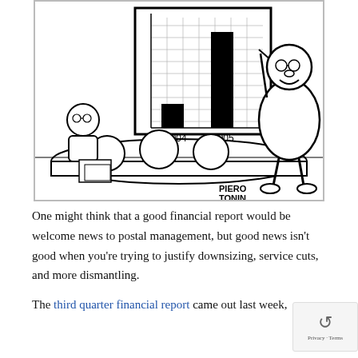[Figure (illustration): A cartoon (signed PIERO TONIN) showing a boardroom scene: a large presenter pointing to a bar chart on a board labeled 2004 and 2005, with the 2005 bar much taller than 2004. Seated audience members face the chart, with one bespectacled man visible at the table.]
One might think that a good financial report would be welcome news to postal management, but good news isn't good when you're trying to justify downsizing, service cuts, and more dismantling.
The third quarter financial report came out last week,